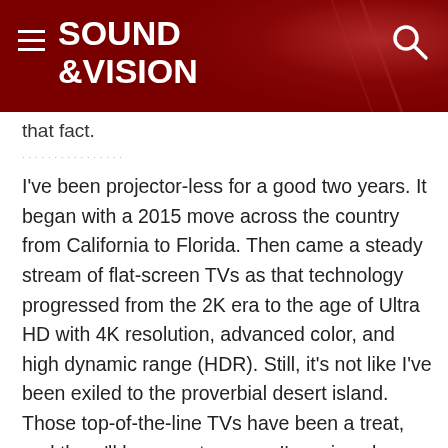SOUND &VISION
that fact.
I've been projector-less for a good two years. It began with a 2015 move across the country from California to Florida. Then came a steady stream of flat-screen TVs as that technology progressed from the 2K era to the age of Ultra HD with 4K resolution, advanced color, and high dynamic range (HDR). Still, it's not like I've been exiled to the proverbial desert island. Those top-of-the-line TVs have been a treat, and there'll be more to come. I've missed having a big screen, however, with the sense of image immersion that only a frontprojection setup can provide.